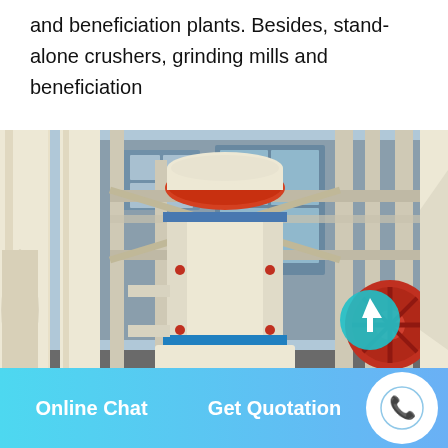and beneficiation plants. Besides, stand-alone crushers, grinding mills and beneficiation
[Figure (photo): Industrial grinding mill equipment (Raymond mill or similar) installed in a factory setting, showing cream/beige colored cylindrical mill body with blue base ring, red accents on top funnel, structural steel framework around it, and a red crusher visible to the right side. Factory building with windows visible in background.]
Online Chat    Get Quotation